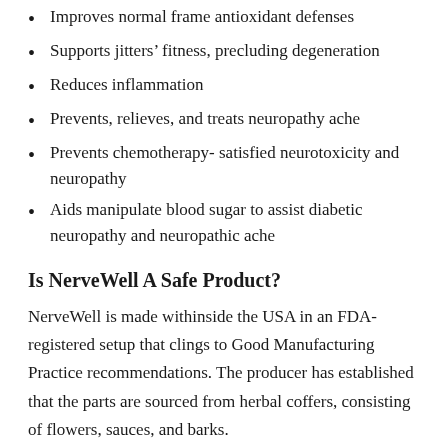Improves normal frame antioxidant defenses
Supports jitters' fitness, precluding degeneration
Reduces inflammation
Prevents, relieves, and treats neuropathy ache
Prevents chemotherapy- satisfied neurotoxicity and neuropathy
Aids manipulate blood sugar to assist diabetic neuropathy and neuropathic ache
Is NerveWell A Safe Product?
NerveWell is made withinside the USA in an FDA- registered setup that clings to Good Manufacturing Practice recommendations. The producer has established that the parts are sourced from herbal coffers, consisting of flowers, sauces, and barks.
About The Company: What Sets It Dissemeal?